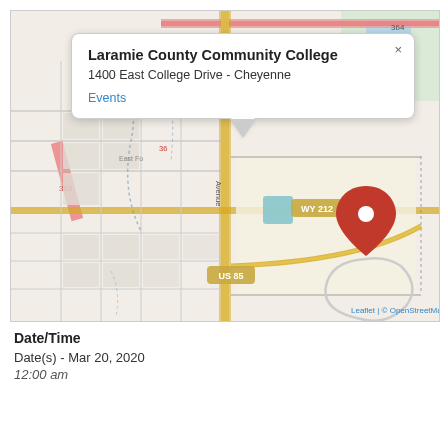[Figure (map): OpenStreetMap map centered on Laramie County Community College at 1400 East College Drive, Cheyenne. Shows street grid, WY 212 and US 85 road markers, East College Drive, South College road labels, and a red location pin marker. A popup tooltip reads: Laramie County Community College, 1400 East College Drive - Cheyenne, Events. Map attribution: Leaflet | © OpenStreetMap.]
Date/Time
Date(s) - Mar 20, 2020
12:00 am